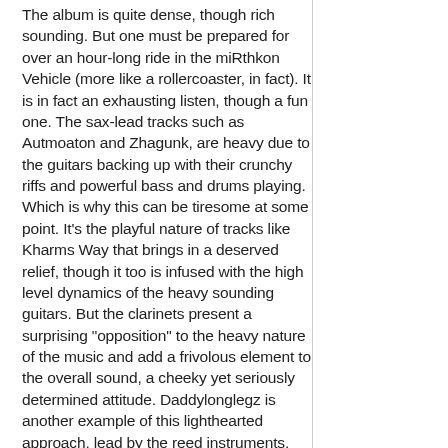The album is quite dense, though rich sounding. But one must be prepared for over an hour-long ride in the miRthkon Vehicle (more like a rollercoaster, in fact). It is in fact an exhausting listen, though a fun one. The sax-lead tracks such as Autmoaton and Zhagunk, are heavy due to the guitars backing up with their crunchy riffs and powerful bass and drums playing. Which is why this can be tiresome at some point. It's the playful nature of tracks like Kharms Way that brings in a deserved relief, though it too is infused with the high level dynamics of the heavy sounding guitars. But the clarinets present a surprising "opposition" to the heavy nature of the music and add a frivolous element to the overall sound, a cheeky yet seriously determined attitude. Daddylonglegz is another example of this lighthearted approach, lead by the reed instruments, with an excellent rhythm section performance (which is true for the rest of the album as well, but here it really